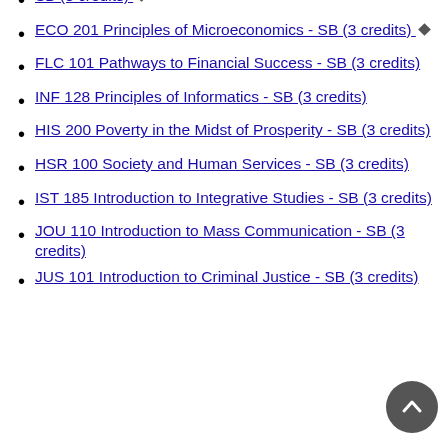SB (3 credits) ♦
ECO 201 Principles of Microeconomics - SB (3 credits) ♦
FLC 101 Pathways to Financial Success - SB (3 credits)
INF 128 Principles of Informatics - SB (3 credits)
HIS 200 Poverty in the Midst of Prosperity - SB (3 credits)
HSR 100 Society and Human Services - SB (3 credits)
IST 185 Introduction to Integrative Studies - SB (3 credits)
JOU 110 Introduction to Mass Communication - SB (3 credits)
JUS 101 Introduction to Criminal Justice - SB (3 credits)